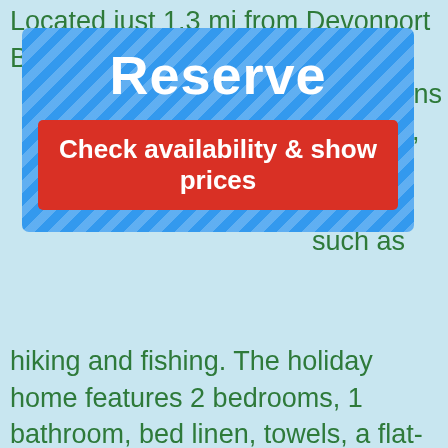Located just 1.3 mi from Devonport Beach, [accommodations], [t, a garden, ]ng free [an area ]such as hiking and fishing. The holiday home features 2 bedrooms, 1 bathroom, bed linen, towels, a flat-screen TV with satellite channels, a dining area, a fully equipped kitchen, and a terrace with garden views. A continental breakfast is available each morning at the holiday home. Devonport Charm [holiday home] Auckland [s] [accommodation] [1 mi] Head Historical Reserve is 1 mi from Devonport Charm [holiday home] [,] [Takapuna Beach is 5 mi] from the property. The nearest airport is Auckland, 13 mi from the holiday home [property] offers paid airport shuttle service.
[Figure (screenshot): Reserve modal overlay with blue diagonal-striped background, large white 'Reserve' heading, and a red 'Check availability & show prices' button.]
We use cookies to collect statistical data. They can also be used by research and advertising companies cooperating with us. Click "I accept", you consent to the use of cookies. If you do not agree, leave the website or change your browser settings.
[Figure (screenshot): Yellow 'I accept' button for cookie consent banner.]